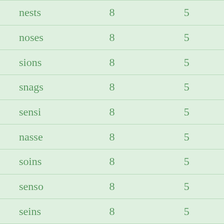| nests | 8 | 5 |
| noses | 8 | 5 |
| sions | 8 | 5 |
| snags | 8 | 5 |
| sensi | 8 | 5 |
| nasse | 8 | 5 |
| soins | 8 | 5 |
| senso | 8 | 5 |
| seins | 8 | 5 |